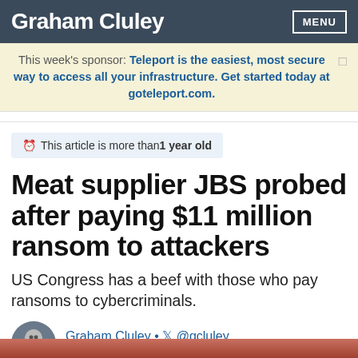Graham Cluley
This week's sponsor: Teleport is the easiest, most secure way to access all your infrastructure. Get started today at goteleport.com.
This article is more than 1 year old
Meat supplier JBS probed after paying $11 million ransom to attackers
US Congress has a beef with those who pay ransoms to cybercriminals.
Graham Cluley • @gcluley
1:57 pm, June 14, 2021